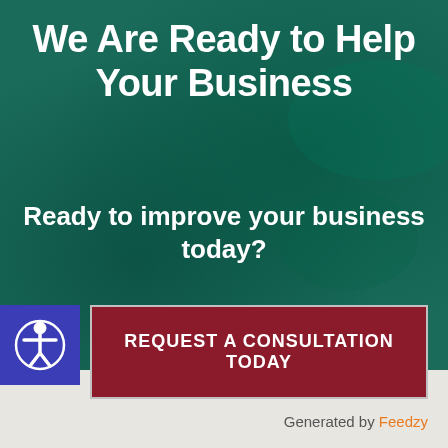We Are Ready to Help Your Business
Ready to improve your business today?
[Figure (illustration): Accessibility icon — circular person with outstretched arms on blue square background]
REQUEST A CONSULTATION TODAY
Generated by Feedzy